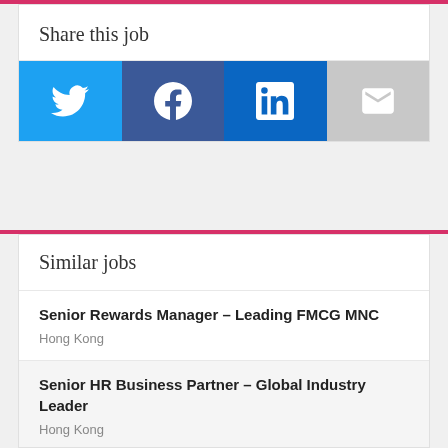Share this job
[Figure (infographic): Social sharing buttons: Twitter (blue), Facebook (dark blue), LinkedIn (medium blue), Email (grey)]
Similar jobs
Senior Rewards Manager – Leading FMCG MNC
Hong Kong
Senior HR Business Partner – Global Industry Leader
Hong Kong